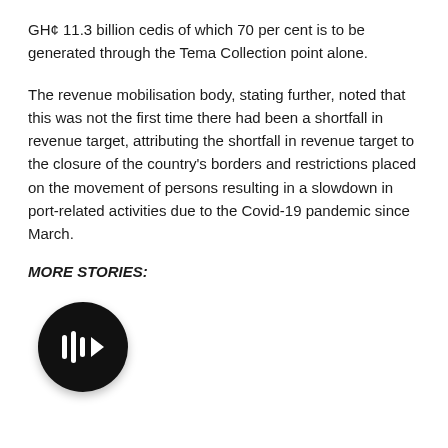GH¢ 11.3 billion cedis of which 70 per cent is to be generated through the Tema Collection point alone.
The revenue mobilisation body, stating further, noted that this was not the first time there had been a shortfall in revenue target, attributing the shortfall in revenue target to the closure of the country's borders and restrictions placed on the movement of persons resulting in a slowdown in port-related activities due to the Covid-19 pandemic since March.
MORE STORIES:
[Figure (other): Black circular audio/video player button with a play/forward icon in white]